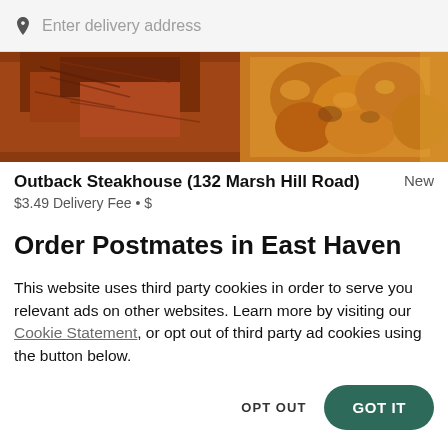Enter delivery address
[Figure (photo): Close-up photo of food including what appears to be steak/meat and fried items on a plate]
Outback Steakhouse (132 Marsh Hill Road)
$3.49 Delivery Fee • $
Order Postmates in East Haven
This website uses third party cookies in order to serve you relevant ads on other websites. Learn more by visiting our Cookie Statement, or opt out of third party ad cookies using the button below.
OPT OUT
GOT IT